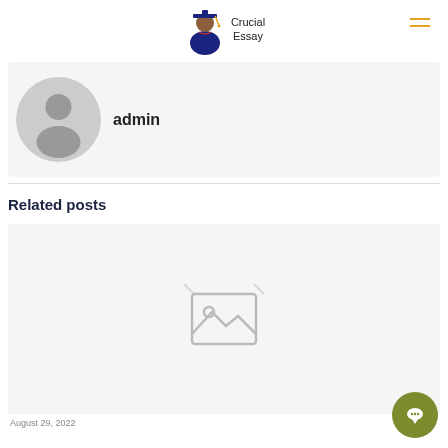Crucial Essay
admin
Related posts
[Figure (illustration): Placeholder image icon with broken image symbol in light gray]
August 29, 2022
Public Administration and Nonprofit Organizations Fo...